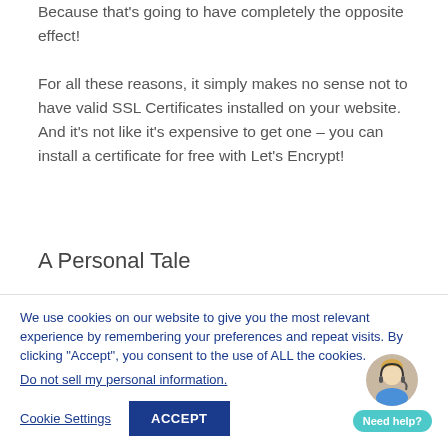Because that's going to have completely the opposite effect!
For all these reasons, it simply makes no sense not to have valid SSL Certificates installed on your website.  And it's not like it's expensive to get one – you can install a certificate for free with Let's Encrypt!
A Personal Tale
We use cookies on our website to give you the most relevant experience by remembering your preferences and repeat visits. By clicking "Accept", you consent to the use of ALL the cookies.
Do not sell my personal information.